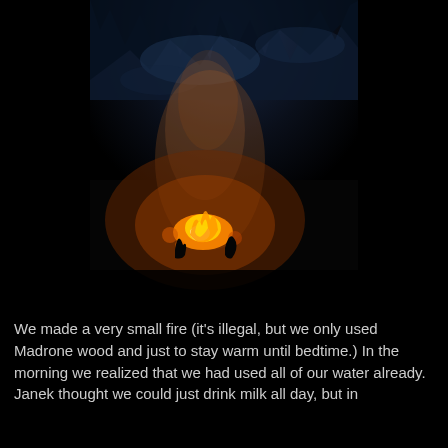[Figure (photo): A nighttime photograph of a small campfire in a dark forest. The fire glows orange and yellow at the center of the image, with silhouettes of people or objects around it. A column of smoke or steam rises upward, illuminated by the firelight. The background shows dark tree silhouettes against a deep blue-black night sky.]
We made a very small fire (it's illegal, but we only used Madrone wood and just to stay warm until bedtime.) In the morning we realized that we had used all of our water already. Janek thought we could just drink milk all day, but in